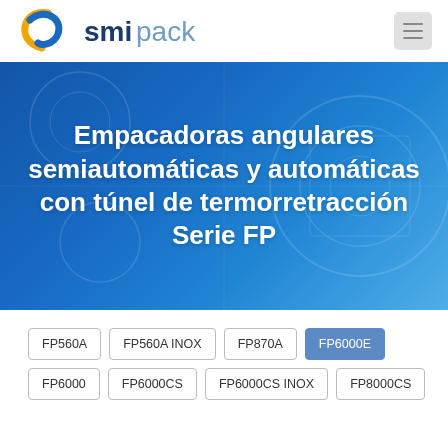[Figure (logo): Smipack logo with orange/yellow S swirl and smipack text in blue/grey]
Empacadoras angulares semiautomáticas y automáticas con túnel de termorretracción Serie FP
FP560A
FP560A INOX
FP870A
FP6000E
FP6000
FP6000CS
FP6000CS INOX
FP8000CS